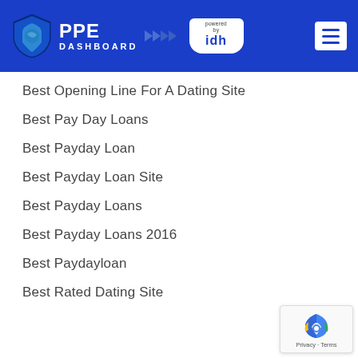PPE DASHBOARD powered by idh
Best Opening Line For A Dating Site
Best Pay Day Loans
Best Payday Loan
Best Payday Loan Site
Best Payday Loans
Best Payday Loans 2016
Best Paydayloan
Best Rated Dating Site